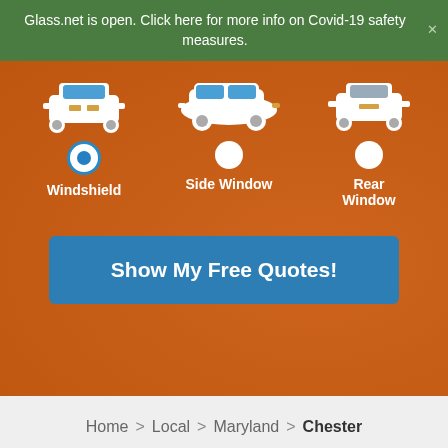Glass.net is open. Click here for more info on Covid-19 safety measures.
[Figure (screenshot): Orange hero section with car window selection UI showing three car icons (front/side/rear views) with radio buttons for Windshield (selected), Side Window, and Rear Window]
Show My Free Quotes!
Home > Local > Maryland > Chester
We use cookies to enhance your experience.